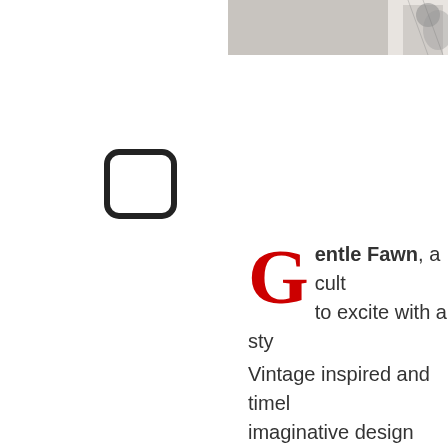[Figure (photo): Partial view of a fashion/jewelry photo showing a person wearing a patterned garment and jewelry, cropped in top-right corner]
[Figure (other): A rounded-rectangle checkbox outline (empty/unchecked), dark border on white background]
Gentle Fawn, a cult... to excite with a sty... Vintage inspired and timel... imaginative design uses d... prints and graphics. The b... aesthetic with feminine cha...